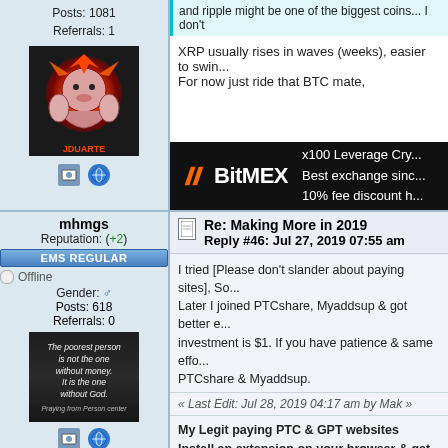Posts: 1081
Referrals: 1
[Figure (illustration): Avatar image with anime/cartoon character with fire background, labeled JDUARTE]
[Figure (illustration): BitMEX advertisement banner: x100 Leverage Cry... Best exchange sinc... 10% fee discount h...]
XRP usually rises in waves (weeks), easier to swin... For now just ride that BTC mate,
mhmgs
Reputation: (+2)
EMS REGULAR
Offline
Gender: male
Posts: 618
Referrals: 0
[Figure (photo): Avatar image with motivational quote: The poorest person is not the one without money. It is the one without God.]
Re: Making More in 2019
Reply #46: Jul 27, 2019 07:55 am
I tried [Please don't slander about paying sites], So... Later I joined PTCshare, Myaddsup & got better e... investment is $1. If you have patience & same effo... PTCshare & Myaddsup.
« Last Edit: Jul 28, 2019 04:17 am by Mak »
My Legit paying PTC & GPT websites
Install an extension on your browser & get upto $4...
Get paid from 0.02 to $7 for doing simple microjobs...